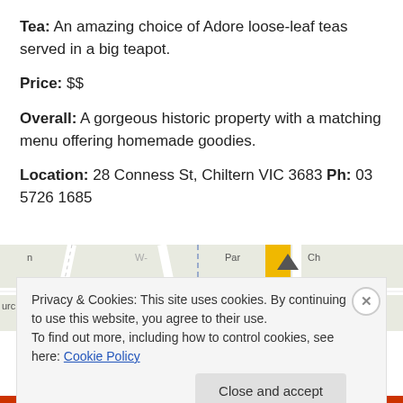Tea: An amazing choice of Adore loose-leaf teas served in a big teapot.
Price: $$
Overall: A gorgeous historic property with a matching menu offering homemade goodies.
Location: 28 Conness St, Chiltern VIC 3683 Ph: 03 5726 1685
[Figure (map): Street map snippet showing roads near Chiltern VIC 3683, with a yellow highlighted road and a map pin marker. Partial street labels visible: 'Par', 'Ch', 'urch'.]
Privacy & Cookies: This site uses cookies. By continuing to use this website, you agree to their use.
To find out more, including how to control cookies, see here: Cookie Policy
Close and accept